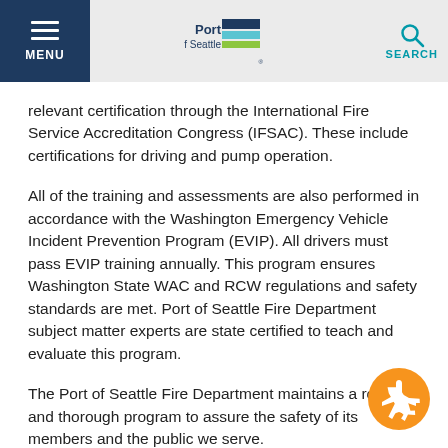MENU | Port of Seattle | SEARCH
relevant certification through the International Fire Service Accreditation Congress (IFSAC). These include certifications for driving and pump operation.
All of the training and assessments are also performed in accordance with the Washington Emergency Vehicle Incident Prevention Program (EVIP). All drivers must pass EVIP training annually. This program ensures Washington State WAC and RCW regulations and safety standards are met. Port of Seattle Fire Department subject matter experts are state certified to teach and evaluate this program.
The Port of Seattle Fire Department maintains a robust and thorough program to assure the safety of its members and the public we serve.
[Figure (logo): Orange circle with white airplane icon]